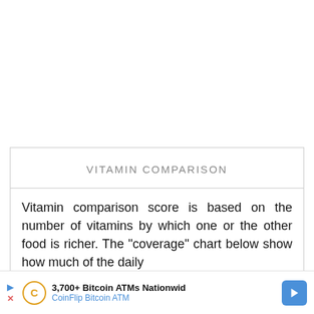VITAMIN COMPARISON
Vitamin comparison score is based on the number of vitamins by which one or the other food is richer. The "coverage" chart below show how much of the daily need